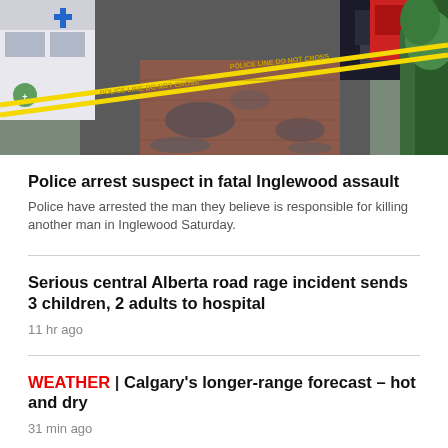[Figure (photo): Crime scene photo showing police tape (yellow caution tape) across a wet brick sidewalk/street in Inglewood, with police vehicles including an ambulance and police car visible, and green trees on the right side.]
Police arrest suspect in fatal Inglewood assault
Police have arrested the man they believe is responsible for killing another man in Inglewood Saturday.
Serious central Alberta road rage incident sends 3 children, 2 adults to hospital
11 hr ago
WEATHER | Calgary's longer-range forecast – hot and dry
31 min ago